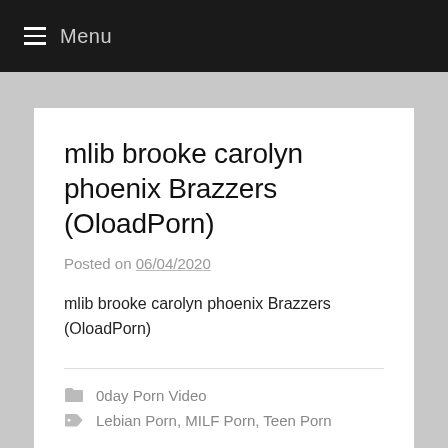Menu
mlib brooke carolyn phoenix Brazzers (OloadPorn)
Posted on 06/04/2020
mlib brooke carolyn phoenix Brazzers (OloadPorn)
0day Porn Video
Lebian Porn, MILF Porn, Teen Porn